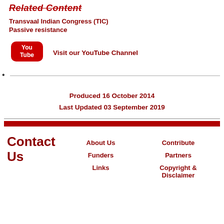Related Content
Transvaal Indian Congress (TIC)
Passive resistance
[Figure (logo): YouTube logo icon — red rounded rectangle with white play button, text 'You' above 'Tube']
Visit our YouTube Channel
Produced 16 October 2014
Last Updated 03 September 2019
Contact Us   About Us   Funders   Links   Contribute   Partners   Copyright & Disclaimer